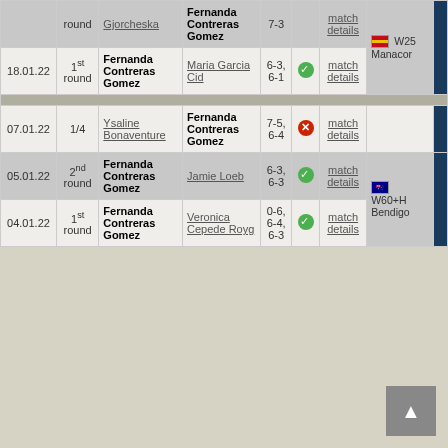| Date | Round | Winner | Loser | Score |  | Details | Tournament |
| --- | --- | --- | --- | --- | --- | --- | --- |
|  | round | Gjorcheska | Fernanda Contreras Gomez | 7-3 |  | match details | W25 Manacor |
| 18.01.22 | 1st round | Fernanda Contreras Gomez | Maria Garcia Cid | 6-3, 6-1 | ✓ | match details |  |
| 07.01.22 | 1/4 | Ysaline Bonaventure | Fernanda Contreras Gomez | 7-5, 6-4 | ✕ | match details |  |
| 05.01.22 | 2nd round | Fernanda Contreras Gomez | Jamie Loeb | 6-3, 6-3 | ✓ | match details | W60+H Bendigo |
| 04.01.22 | 1st round | Fernanda Contreras Gomez | Veronica Cepede Royg | 0-6, 6-4, 6-3 | ✓ | match details |  |